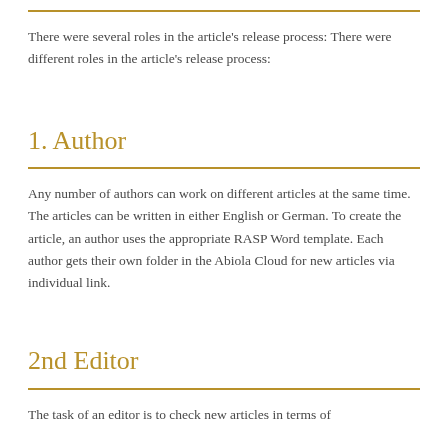There were several roles in the article's release process: There were different roles in the article's release process:
1. Author
Any number of authors can work on different articles at the same time. The articles can be written in either English or German. To create the article, an author uses the appropriate RASP Word template. Each author gets their own folder in the Abiola Cloud for new articles via individual link.
2nd Editor
The task of an editor is to check new articles in terms of